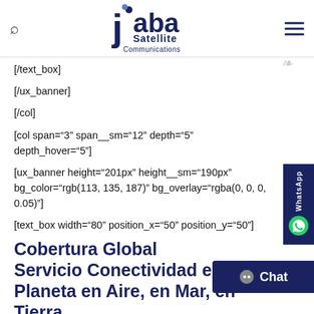Jaba Satellite Communications — navigation bar with search and menu icons
[/text_box]
[/ux_banner]
[/col]
[col span="3" span__sm="12" depth="5" depth_hover="5"]
[ux_banner height="201px" height__sm="190px" bg_color="rgb(113, 135, 187)" bg_overlay="rgba(0, 0, 0, 0.05)"]
[text_box width="80" position_x="50" position_y="50"]
Cobertura Global Servicio Conectividad en Planeta en Aire, en Mar, en Tierra